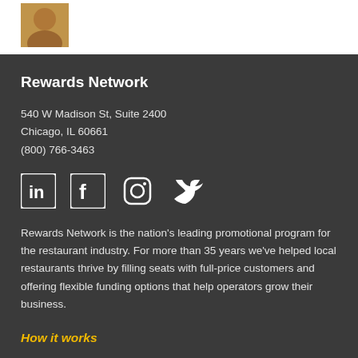[Figure (photo): Partial photo of a person, cropped at top of page]
Rewards Network
540 W Madison St, Suite 2400
Chicago, IL 60661
(800) 766-3463
[Figure (infographic): Social media icons: LinkedIn, Facebook, Instagram, Twitter]
Rewards Network is the nation's leading promotional program for the restaurant industry. For more than 35 years we've helped local restaurants thrive by filling seats with full-price customers and offering flexible funding options that help operators grow their business.
How it works
Our rewards partners